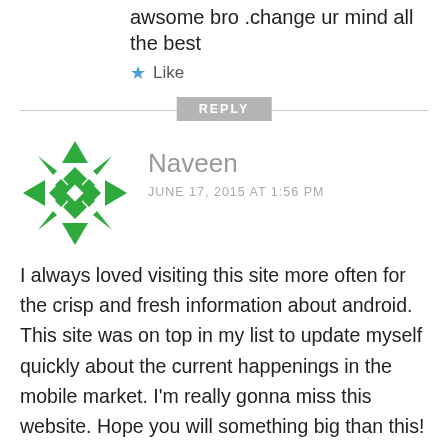awsome bro .change ur mind all the best
★ Like
REPLY
Naveen
JUNE 17, 2015 AT 1:56 PM
[Figure (illustration): Green geometric snowflake/quilt pattern avatar icon for user Naveen]
I always loved visiting this site more often for the crisp and fresh information about android. This site was on top in my list to update myself quickly about the current happenings in the mobile market. I'm really gonna miss this website. Hope you will something big than this! All